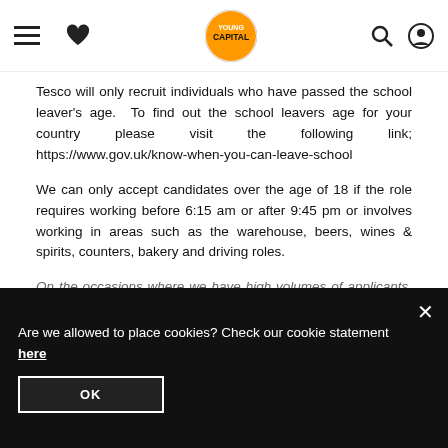YoungCapital navigation header
Tesco will only recruit individuals who have passed the school leaver's age.  To find out the school leavers age for your country please visit the following link; https://www.gov.uk/know-when-you-can-leave-school
We can only accept candidates over the age of 18 if the role requires working before 6:15 am or after 9:45 pm or involves working in areas such as the warehouse, beers, wines & spirits, counters, bakery and driving roles.
On the occasions where we have high volumes of applicants, some roles may close earlier than the advertised end date in order for us to manage all of the applications. We will send a text or email to those candidates who attend an
Are we allowed to place cookies? Check our cookie statement here
OK